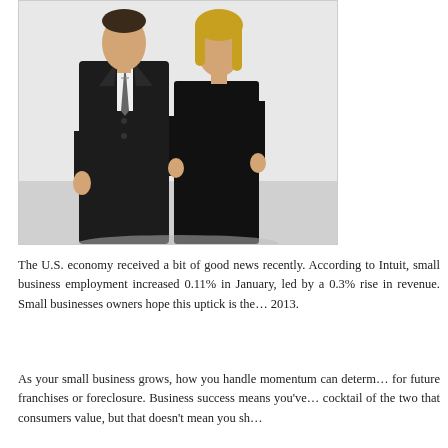[Figure (photo): Two business professionals in dark suits standing side by side against a white background — a man in a suit with a striped tie on the left and a woman with blonde hair on the right.]
The U.S. economy received a bit of good news recently. According to Intuit, small business employment increased 0.11% in January, led by a 0.3% rise in revenue. Small businesses owners hope this uptick is the… 2013.
As your small business grows, how you handle momentum can determ… for future franchises or foreclosure. Business success means you've… cocktail of the two that consumers value, but that doesn't mean you sh…